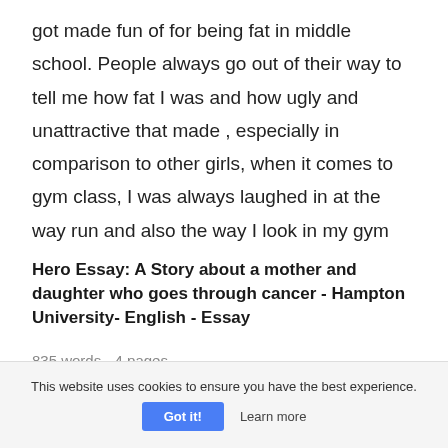got made fun of for being fat in middle school. People always go out of their way to tell me how fat I was and how ugly and unattractive that made , especially in comparison to other girls, when it comes to gym class, I was always laughed in at the way run and also the way I look in my gym
Hero Essay: A Story about a mother and daughter who goes through cancer - Hampton University- English - Essay
835 words - 4 pages
This website uses cookies to ensure you have the best experience.